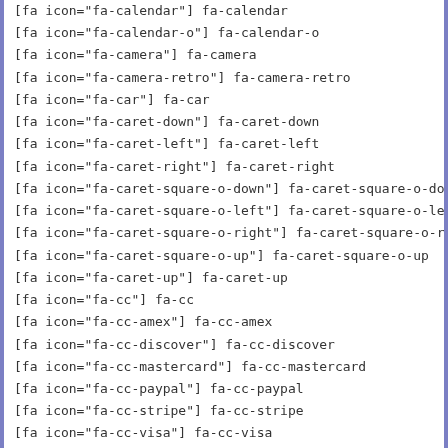[fa icon="fa-calendar"] fa-calendar
[fa icon="fa-calendar-o"] fa-calendar-o
[fa icon="fa-camera"] fa-camera
[fa icon="fa-camera-retro"] fa-camera-retro
[fa icon="fa-car"] fa-car
[fa icon="fa-caret-down"] fa-caret-down
[fa icon="fa-caret-left"] fa-caret-left
[fa icon="fa-caret-right"] fa-caret-right
[fa icon="fa-caret-square-o-down"] fa-caret-square-o-down
[fa icon="fa-caret-square-o-left"] fa-caret-square-o-left
[fa icon="fa-caret-square-o-right"] fa-caret-square-o-right
[fa icon="fa-caret-square-o-up"] fa-caret-square-o-up
[fa icon="fa-caret-up"] fa-caret-up
[fa icon="fa-cc"] fa-cc
[fa icon="fa-cc-amex"] fa-cc-amex
[fa icon="fa-cc-discover"] fa-cc-discover
[fa icon="fa-cc-mastercard"] fa-cc-mastercard
[fa icon="fa-cc-paypal"] fa-cc-paypal
[fa icon="fa-cc-stripe"] fa-cc-stripe
[fa icon="fa-cc-visa"] fa-cc-visa
[fa icon="fa-certificate"] fa-certificate
[fa icon="fa-chain"] fa-chain